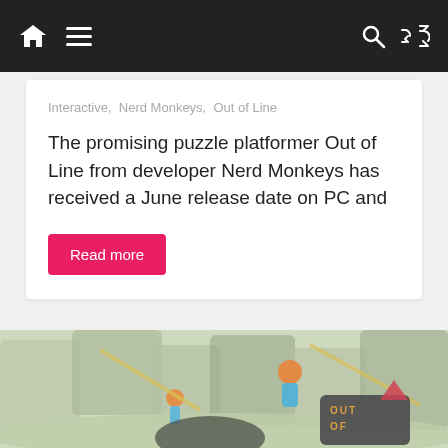Navigation bar with home, menu, search, and shuffle icons
Interactive, Nerd Monkeys, Out of Line
The promising puzzle platformer Out of Line from developer Nerd Monkeys has received a June release date on PC and
Read more
[Figure (screenshot): Game artwork for 'Out of Line' showing animated characters in a stylized forest environment with large stone blocks. The game logo 'OUT OF LINE' is visible at the bottom right. A red upward arrow/chevron overlaps the logo.]